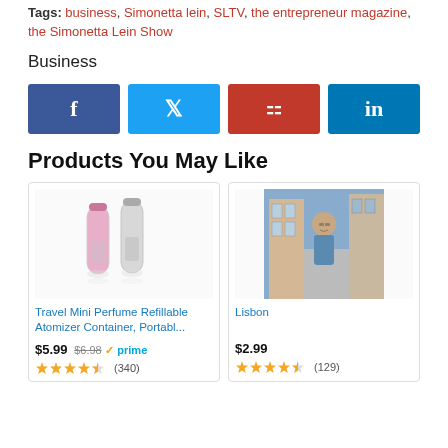Tags: business, Simonetta lein, SLTV, the entrepreneur magazine, the Simonetta Lein Show
Business
[Figure (infographic): Social sharing buttons for Facebook, Twitter, Pinterest, and LinkedIn]
Products You May Like
[Figure (photo): Two travel mini perfume refillable atomizer containers — one pink and one silver]
Travel Mini Perfume Refillable Atomizer Container, Portabl...
$5.99 $6.98 prime
4.5 stars (340)
[Figure (photo): A smiling man in a blue shirt standing in a European street — Lisbon book cover]
Lisbon
$2.99
4.5 stars (129)